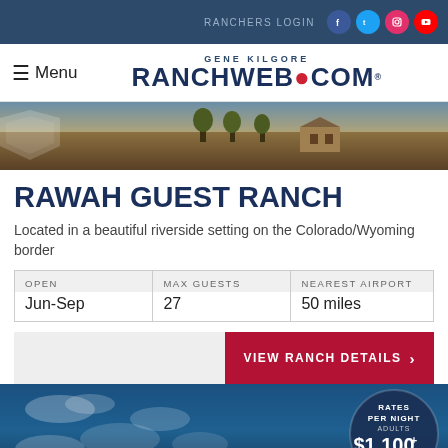RANCHERS LOGIN
[Figure (logo): Gene Kilgore RanchWeb.com logo with red dot and registered trademark symbol]
[Figure (photo): Ranch hero image showing landscape with building and trees]
RAWAH GUEST RANCH
Located in a beautiful riverside setting on the Colorado/Wyoming border
| OPEN | MAX GUESTS | NEAREST AIRPORT |
| --- | --- | --- |
| Jun-Sep | 27 | 50 miles |
VIEW RANCH DETAILS
[Figure (photo): Sky with clouds blue background, rates badge showing RATES PER NIGHT ADULTS $1,100+]